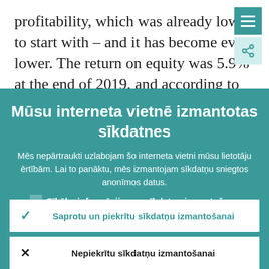profitability, which was already low to start with – and it has become even lower. The return on equity was 5.9% at the end of 2019, and according to analysts'
Mūsu interneta vietnē izmantotas sīkdatnes
Mēs nepārtraukti uzlabojam šo interneta vietni mūsu lietotāju ērtībām. Lai to panāktu, mēs izmantojam sīkdatņu sniegtos anonīmos datus.
Sīkāka informācija par sīkdatņu izmantošanu
Saprotu un piekrītu sīkdatņu izmantošanai
Nepiekrītu sīkdatņu izmantošanai